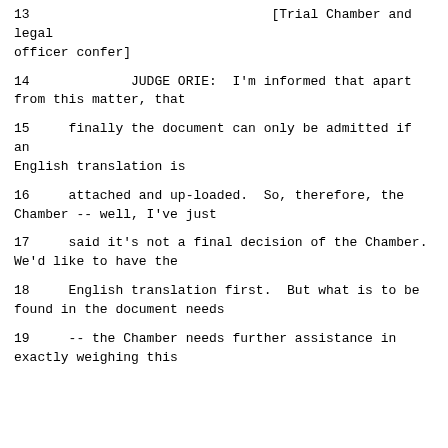13                              [Trial Chamber and legal officer confer]
14             JUDGE ORIE:  I'm informed that apart from this matter, that
15      finally the document can only be admitted if an English translation is
16      attached and up-loaded.  So, therefore, the Chamber -- well, I've just
17      said it's not a final decision of the Chamber. We'd like to have the
18      English translation first.  But what is to be found in the document needs
19      -- the Chamber needs further assistance in exactly weighing this